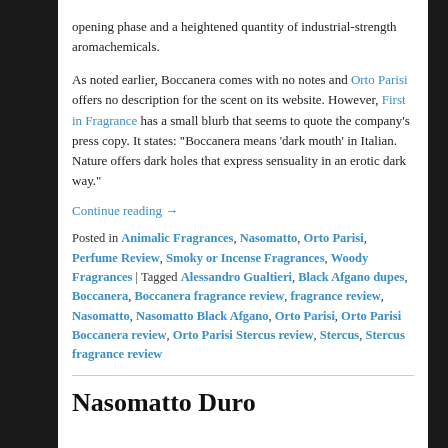opening phase and a heightened quantity of industrial-strength aromachemicals.
As noted earlier, Boccanera comes with no notes and Orto Parisi offers no description for the scent on its website. However, First in Fragrance has a small blurb that seems to quote the company’s press copy. It states: “Boccanera means ‘dark mouth’ in Italian. Nature offers dark holes that express sensuality in an erotic dark way.”
Continue reading →
Posted in Animalic Fragrances, Nasomatto, Orto Parisi, Perfume Review, Smoky or Incense Fragrances, Woody Fragrances | Tagged Alessandro Gualtieri, Black Afgano dupes, Boccanera, Boccanera fragrance review, fragrance review, Nasomatto, Nasomatto Black Afgano, Orto Parisi, Orto Parisi Boccanera review, Orto Parisi Stercus review, Stercus, Stercus fragrance review
Nasomatto Duro